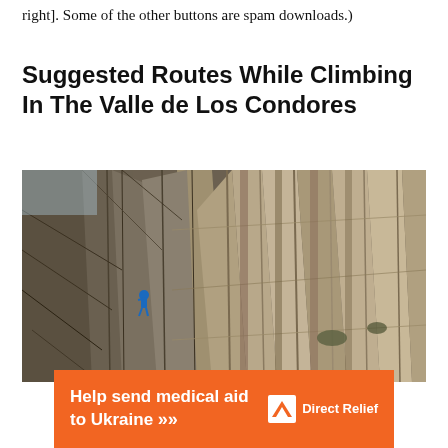right]. Some of the other buttons are spam downloads.)
Suggested Routes While Climbing In The Valle de Los Condores
[Figure (photo): A rock climber in blue gear scaling a dramatic columnar basalt cliff face at Valle de Los Condores. The towering hexagonal rock columns dominate the frame, with the tiny climber visible on the left side of the wall.]
Help send medical aid to Ukraine >>  DirectRelief